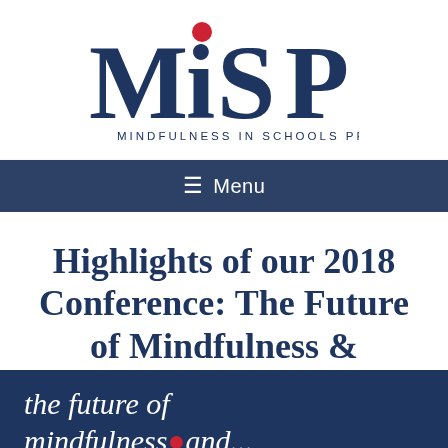[Figure (logo): MiSP - Mindfulness in Schools Project logo. Large stylized letters M, i (with red dot), S, P in dark navy blue, with 'MINDFULNESS IN SCHOOLS PROJECT' in small caps below.]
≡  Menu
Highlights of our 2018 Conference: The Future of Mindfulness & Education
the future of mindfulness...